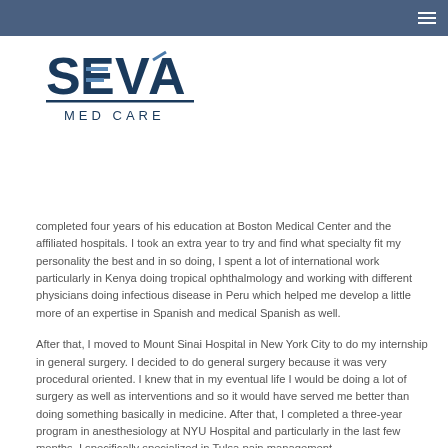SEVA MED CARE
[Figure (logo): SEVA MED CARE logo with stylized letters in dark blue]
completed four years of his education at Boston Medical Center and the affiliated hospitals. I took an extra year to try and find what specialty fit my personality the best and in so doing, I spent a lot of international work particularly in Kenya doing tropical ophthalmology and working with different physicians doing infectious disease in Peru which helped me develop a little more of an expertise in Spanish and medical Spanish as well.
After that, I moved to Mount Sinai Hospital in New York City to do my internship in general surgery. I decided to do general surgery because it was very procedural oriented. I knew that in my eventual life I would be doing a lot of surgery as well as interventions and so it would have served me better than doing something basically in medicine. After that, I completed a three-year program in anesthesiology at NYU Hospital and particularly in the last few months, I specifically specialized in Tulsa pain management.